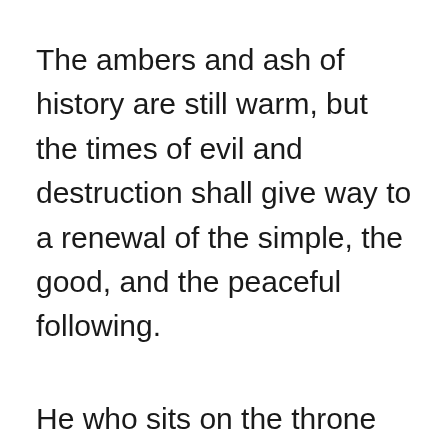The ambers and ash of history are still warm, but the times of evil and destruction shall give way to a renewal of the simple, the good, and the peaceful following.
He who sits on the throne that is the foundation of all that lives gazes upon his creation with a sadness and